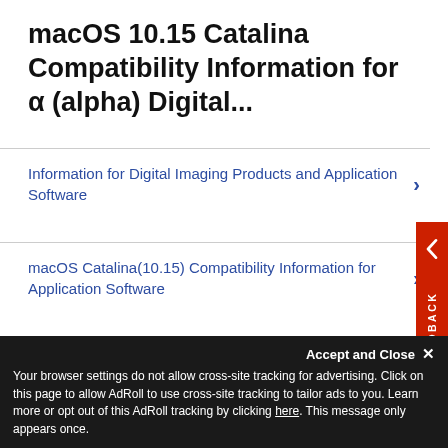macOS 10.15 Catalina Compatibility Information for α (alpha) Digital...
Information for Digital Imaging Products and Application Software
macOS Catalina(10.15) Compatibility Information for Application Software
macOS Monterey (macOS 12) Compatibility Information for Digital Imaging Products and Application Software
Accept and Close ✕  Your browser settings do not allow cross-site tracking for advertising. Click on this page to allow AdRoll to use cross-site tracking to tailor ads to you. Learn more or opt out of this AdRoll tracking by clicking here. This message only appears once.